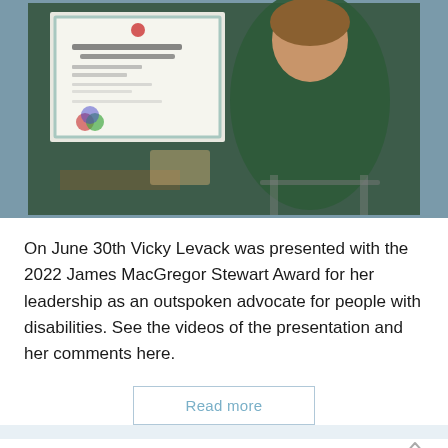[Figure (photo): A person in a green lace sweater seated in a wheelchair holding up a certificate that reads 'James MacGregor Stewart Award' with 'Victoria Levack' on it.]
On June 30th Vicky Levack was presented with the 2022 James MacGregor Stewart Award for her leadership as an outspoken advocate for people with disabilities. See the videos of the presentation and her comments here.
Read more
Government considers exempting